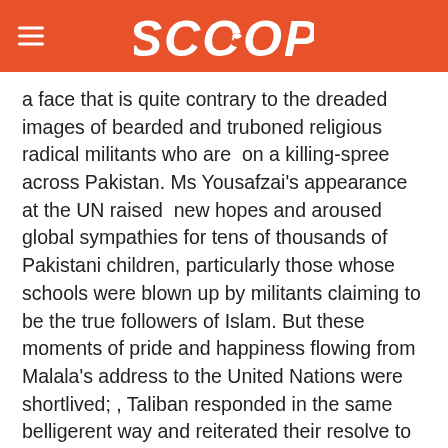SCOOP
a face that is quite contrary to the dreaded images of bearded and truboned religious radical militants who are  on a killing-spree across Pakistan. Ms Yousafzai's appearance at the UN raised  new hopes and aroused global sympathies for tens of thousands of Pakistani children, particularly those whose schools were blown up by militants claiming to be the true followers of Islam. But these moments of pride and happiness flowing from Malala's address to the United Nations were shortlived; , Taliban responded in the same belligerent way and reiterated their resolve to target Malala Yousufzai ever returned to Pakistan[1].  No voice of protest or condemnation came from any corner and the writ of extremism remained supreme in the country.